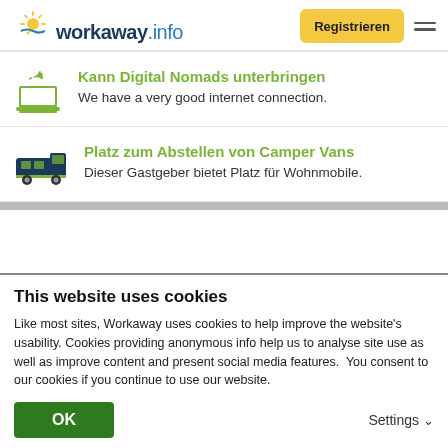workaway.info — Registrieren
Kann Digital Nomads unterbringen
We have a very good internet connection.
Platz zum Abstellen von Camper Vans
Dieser Gastgeber bietet Platz für Wohnmobile.
This website uses cookies
Like most sites, Workaway uses cookies to help improve the website's usability. Cookies providing anonymous info help us to analyse site use as well as improve content and present social media features.  You consent to our cookies if you continue to use our website.
OK   Settings